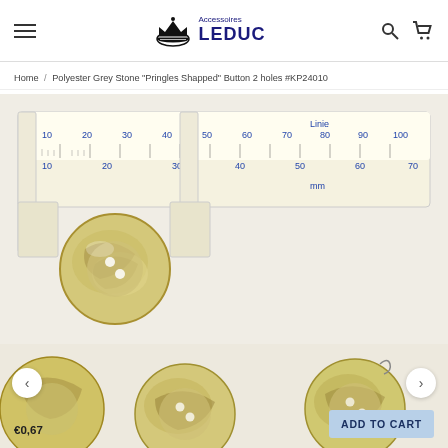Accessoires LEDUC
Home / Polyester Grey Stone "Pringles Shapped" Button 2 holes #KP24010
[Figure (photo): Close-up photo of yellowish-cream marbled polyester buttons being measured with a plastic ruler/caliper showing millimeter markings. The ruler shows markings including Linie, 10-100 on top row and 10-70 on bottom row, with 'mm' label. One button is held in the caliper jaw showing approximately 24mm diameter.]
[Figure (photo): Bottom strip showing multiple yellowish marbled buttons arranged in a row, with navigation arrows on left and right sides.]
€0,67
ADD TO CART